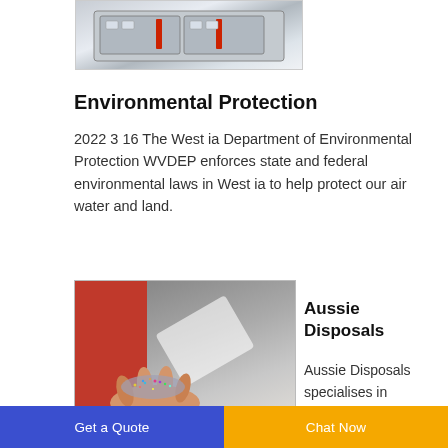[Figure (photo): Partial image of an industrial machine or equipment, shown cropped at the top of the page]
Environmental Protection
2022 3 16 The West ia Department of Environmental Protection WVDEP enforces state and federal environmental laws in West ia to help protect our air water and land.
[Figure (photo): A hand holding colorful glitter/micro-plastics with an industrial or warehouse background with red and grey walls]
Aussie Disposals
Aussie Disposals specialises in
Get a Quote | Chat Now